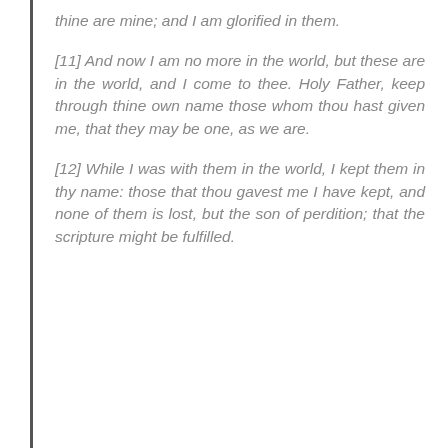thine are mine; and I am glorified in them.
[11] And now I am no more in the world, but these are in the world, and I come to thee. Holy Father, keep through thine own name those whom thou hast given me, that they may be one, as we are.
[12] While I was with them in the world, I kept them in thy name: those that thou gavest me I have kept, and none of them is lost, but the son of perdition; that the scripture might be fulfilled.